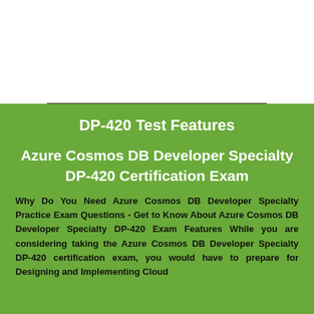DP-420 Test Features
Azure Cosmos DB Developer Specialty DP-420 Certification Exam
Why Do You Need Azure Cosmos DB Developer Specialty Practice Exam Questions - Get to Know About Azure Cosmos DB Developer Specialty DP-420 Exam Features While you are considering taking the Azure Cosmos DB Developer Specialty DP-420 certification exam, you would have to prepare for Designing and Implementing Cloud